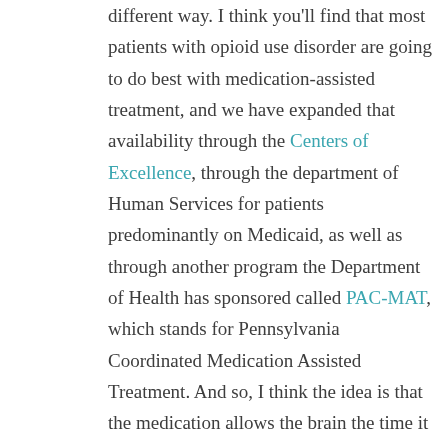different way. I think you'll find that most patients with opioid use disorder are going to do best with medication-assisted treatment, and we have expanded that availability through the Centers of Excellence, through the department of Human Services for patients predominantly on Medicaid, as well as through another program the Department of Health has sponsored called PAC-MAT, which stands for Pennsylvania Coordinated Medication Assisted Treatment. And so, I think the idea is that the medication allows the brain the time it needs to heal and to try to prevent that type of relapse.
There are a lot of unanswered questions in terms of medication-assisted treatment. One of them, of